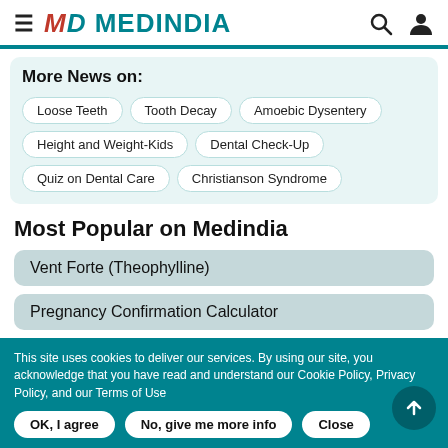≡ MD MEDINDIA
More News on:
Loose Teeth
Tooth Decay
Amoebic Dysentery
Height and Weight-Kids
Dental Check-Up
Quiz on Dental Care
Christianson Syndrome
Most Popular on Medindia
Vent Forte (Theophylline)
Pregnancy Confirmation Calculator
This site uses cookies to deliver our services. By using our site, you acknowledge that you have read and understand our Cookie Policy, Privacy Policy, and our Terms of Use
OK, I agree | No, give me more info | Close